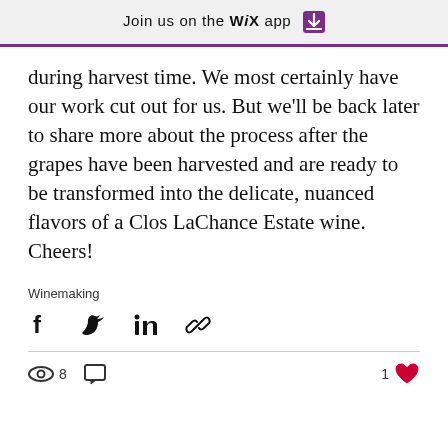Join us on the WiX app
during harvest time. We most certainly have our work cut out for us. But we'll be back later to share more about the process after the grapes have been harvested and are ready to be transformed into the delicate, nuanced flavors of a Clos LaChance Estate wine. Cheers!
Winemaking
[Figure (infographic): Social share icons: Facebook, Twitter, LinkedIn, link/chain icon]
[Figure (infographic): Stats row: eye icon with count 8, comment icon, and 1 heart icon on the right]